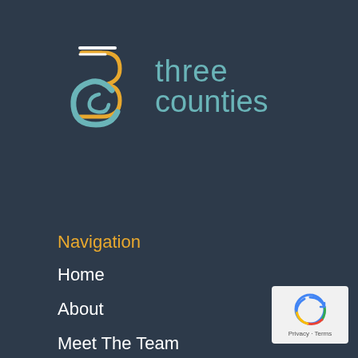[Figure (logo): Three Counties logo with circular '3' icon in teal and gold, with 'three counties' text in teal]
Navigation
Home
About
Meet The Team
Resource Library
Blog & News
[Figure (logo): reCAPTCHA badge with privacy and terms links]